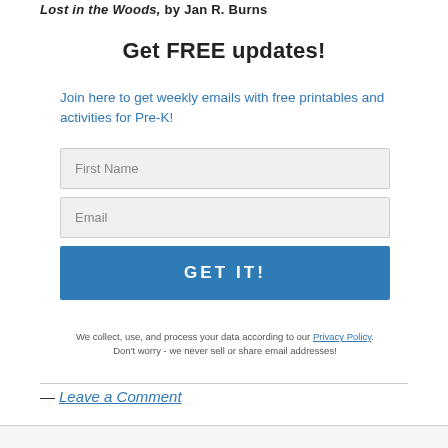Lost in the Woods, by Jan R. Burns
Get FREE updates!
Join here to get weekly emails with free printables and activities for Pre-K!
First Name
Email
GET IT!
We collect, use, and process your data according to our Privacy Policy. Don't worry - we never sell or share email addresses!
— Leave a Comment